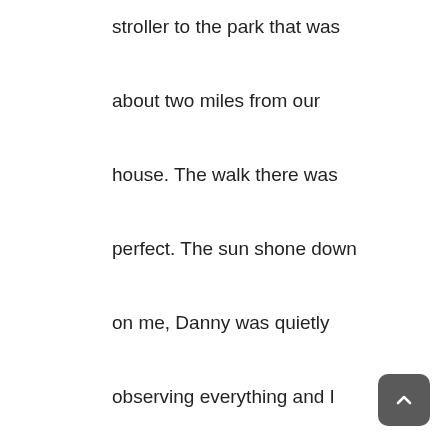stroller to the park that was about two miles from our house. The walk there was perfect. The sun shone down on me, Danny was quietly observing everything and I was enjoying tree watching.

About three quarters of the way there, looking ahead I abruptly stopped and looked